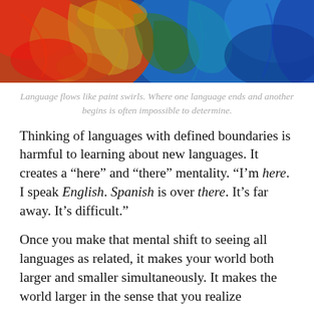[Figure (photo): Abstract colorful paint swirls with red, orange, yellow, green, and blue colors blending together]
Language flows like paint swirls. Where one language ends and another begins is often impossible to determine.
Thinking of languages with defined boundaries is harmful to learning about new languages. It creates a “here” and “there” mentality. “I’m here. I speak English. Spanish is over there. It’s far away. It’s difficult.”
Once you make that mental shift to seeing all languages as related, it makes your world both larger and smaller simultaneously. It makes the world larger in the sense that you realize